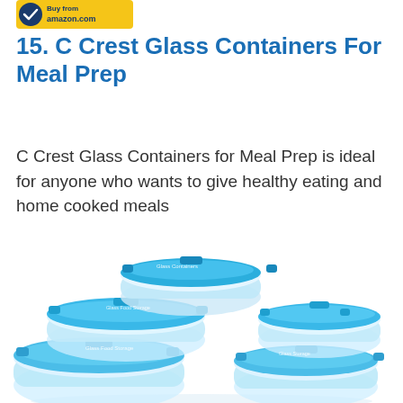[Figure (logo): Buy from Amazon.com badge/logo with blue banner and checkmark icon]
15. C Crest Glass Containers For Meal Prep
C Crest Glass Containers for Meal Prep is ideal for anyone who wants to give healthy eating and home cooked meals
[Figure (photo): Stack of C Crest glass food storage containers with blue snap-lock lids, stacked in a pyramid arrangement showing multiple sizes]